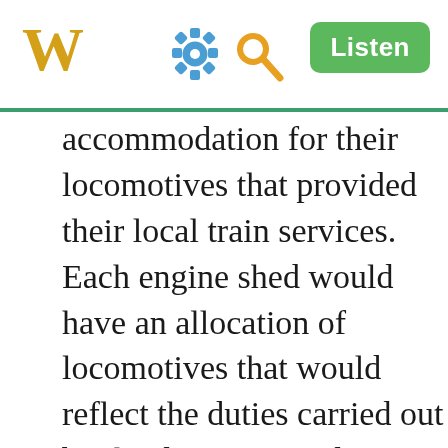W | [gear icon] [search icon] | Listen
accommodation for their locomotives that provided their local train services. Each engine shed would have an allocation of locomotives that would reflect the duties carried out by the depot. Most depots had a mixture of passenger, freight and shunting locomotives but some, such as Mexborough, had predominantly freight locomotives reflecting the industrial nature of that area in South Yorkshire. Other such as Kings Cross engine shed in London, predominantly provided locomotives for